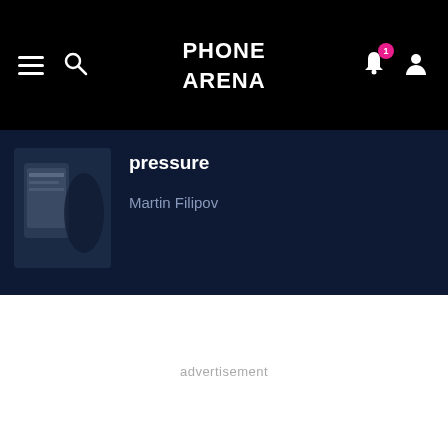Phone Arena navigation bar with hamburger menu, search icon, Phone Arena logo, notification bell with badge 1, and user account icon
pressure
Martin Filipov
advertisement